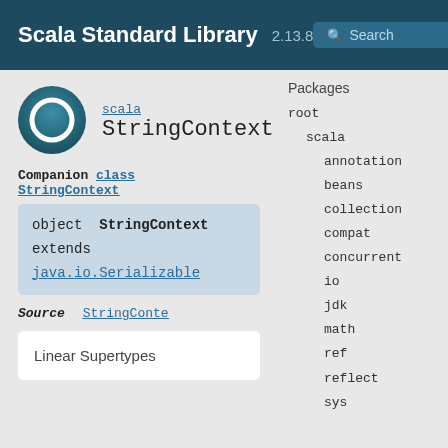Scala Standard Library 2.13.8 Search
[Figure (logo): Circular teal/dark teal logo icon with white circle outline (object icon)]
scala
StringContext
Companion class StringContext
object StringContext
extends
java.io.Serializable
Source   StringConte
Linear Supertypes
Packages
root
scala
annotation
beans
collection
compat
concurrent
io
jdk
math
ref
reflect
sys